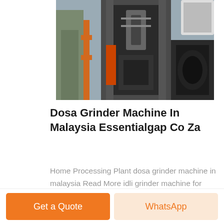[Figure (photo): Industrial grinder/press machine in a factory setting, viewed from front, showing heavy metal machinery with orange safety elements and a large motor on the right side.]
Dosa Grinder Machine In Malaysia Essentialgap Co Za
Home Processing Plant dosa grinder machine in malaysia Read More idli grinder machine for sale in pune butterfly dosa grinder in zimbabwe butterfly idli Manufacturer of Tilting Commercial Grinder Insant Idli Dosa Battar Machine and Instant Masala Grinder offered by Trident Engineers Coimbatore Tamil Nadu India …